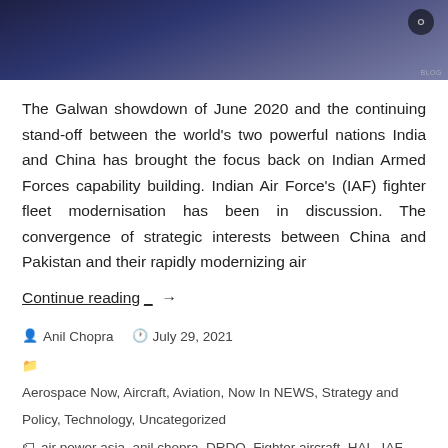[Figure (photo): Dark blue/purple atmospheric header image with a small circular watermark icon in the top right corner]
The Galwan showdown of June 2020 and the continuing stand-off between the world's two powerful nations India and China has brought the focus back on Indian Armed Forces capability building. Indian Air Force's (IAF) fighter fleet modernisation has been in discussion. The convergence of strategic interests between China and Pakistan and their rapidly modernizing air
Continue reading →
Anil Chopra   July 29, 2021
Aerospace Now, Aircraft, Aviation, Now In NEWS, Strategy and Policy, Technology, Uncategorized
air power asia, anil chopra, DRDO, Fighter aircraft, HAL, IAF
2 Comments